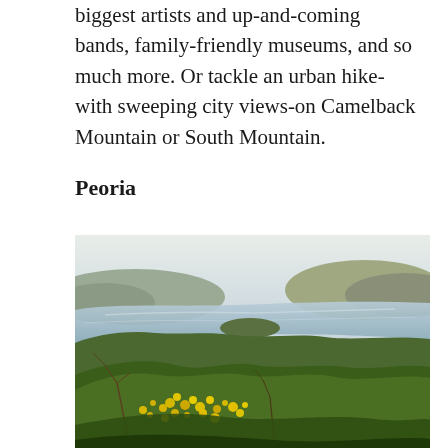biggest artists and up-and-coming bands, family-friendly museums, and so much more. Or tackle an urban hike-with sweeping city views-on Camelback Mountain or South Mountain.
Peoria
[Figure (photo): Landscape photo showing yellow wildflowers and green shrubs in the foreground with a lake and hills/mountains in the background under a pale sky.]